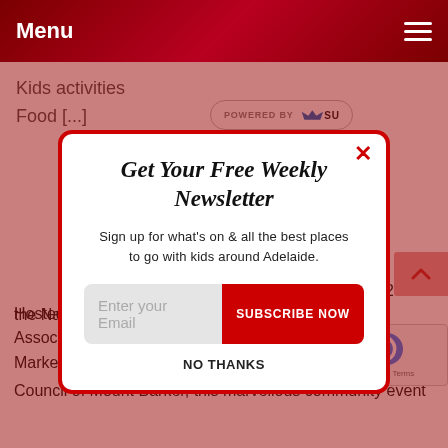Menu
Kids activities
Food [...]
[Figure (logo): POWERED BY SUMO logo badge]
Get Your Free Weekly Newsletter
Sign up for what's on & all the best places to go with kids around Adelaide.
Enter your Email | SUBSCRIBE NOW
NO THANKS
moving to a new home in 2019 –
the Nairne Primary School Oval.
Hosted by the Nairne & District Residents' Associat with support from The Nairne Market and The Distri
Council of Mount Barker, this marvellous community event